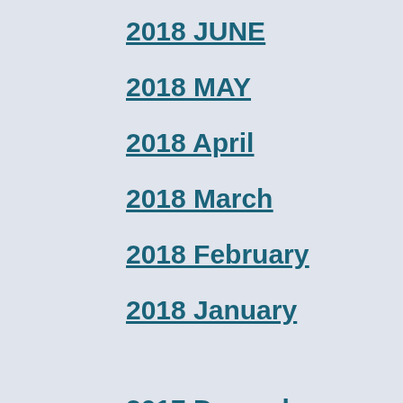2018 JUNE
2018 MAY
2018 April
2018 March
2018 February
2018 January
2017 December
2017 November